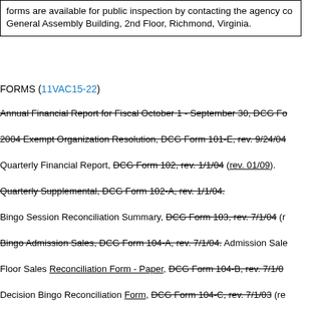forms are available for public inspection by contacting the agency co General Assembly Building, 2nd Floor, Richmond, Virginia.
FORMS (11VAC15-22)
Annual Financial Report for Fiscal October 1 - September 30, DCG Fo
2004 Exempt Organization Resolution, DCG Form 101-E, rev. 9/24/04
Quarterly Financial Report, DCG Form 102, rev. 1/1/04 (rev. 01/09).
Quarterly Supplemental, DCG Form 102-A, rev. 1/1/04.
Bingo Session Reconciliation Summary, DCG Form 103, rev. 7/1/04 (r
Bingo Admission Sales, DCG Form 104-A, rev. 7/1/04. Admission Sale
Floor Sales Reconciliation Form - Paper, DCG Form 104-B, rev. 7/1/0
Decision Bingo Reconciliation Form, DCG Form 104-C, rev. 7/1/03 (re
Raffle or Treasure Chest Sales - (Bingo), DCG Form 104-D, rev. 7/1/0 D (rev. 07/08).